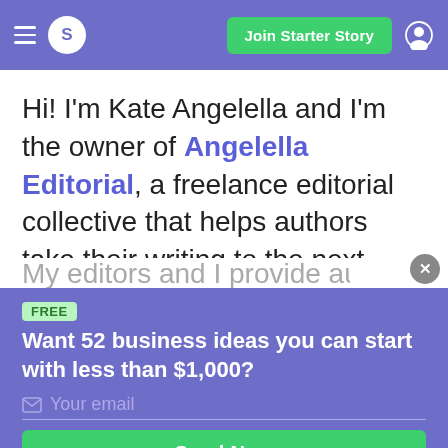S  Join Starter Story
Hi! I'm Kate Angelella and I'm the owner of Angelella Editorial, a freelance editorial collective that helps authors take their writing to the next level.
My editors and I provide author coaching
FREE
Want 52 business ideas you can start with less than $1,000?
Your email
Send Now